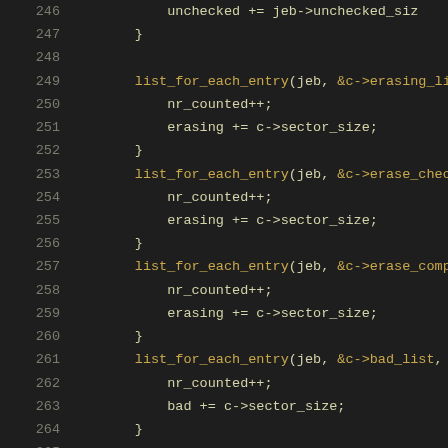Source code lines 246-266 showing C kernel code with list_for_each_entry calls and a #define check(sz) macro definition